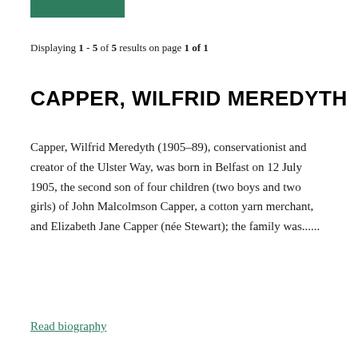Displaying 1 - 5 of 5 results on page 1 of 1
CAPPER, WILFRID MEREDYTH
Capper, Wilfrid Meredyth (1905–89), conservationist and creator of the Ulster Way, was born in Belfast on 12 July 1905, the second son of four children (two boys and two girls) of John Malcolmson Capper, a cotton yarn merchant, and Elizabeth Jane Capper (née Stewart); the family was......
Read biography